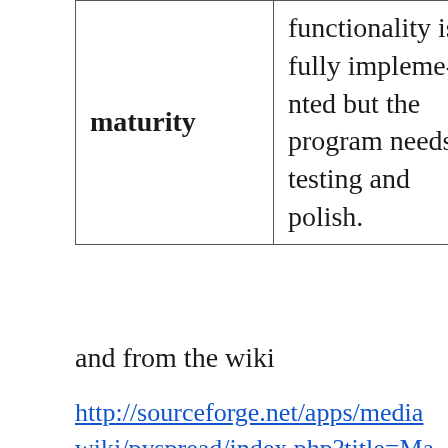| maturity | functionality is fully implemented but the program needs testing and polish. |
and from the wiki
http://sourceforge.net/apps/mediawiki/pyspread/index.php?title=Main_Page